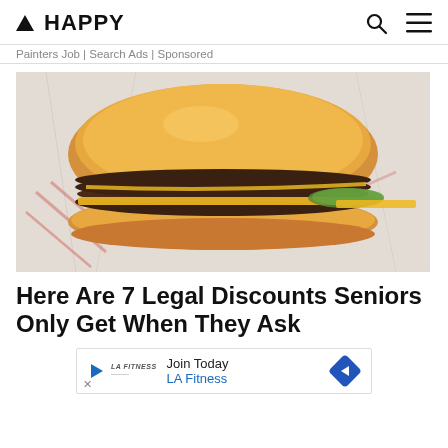▲ HAPPY
Painters Job | Search Ads | Sponsored
[Figure (photo): A fast food double cheeseburger with pickles and mustard on white wrapper paper, viewed from the side.]
Here Are 7 Legal Discounts Seniors Only Get When They Ask
Join Today LA Fitness